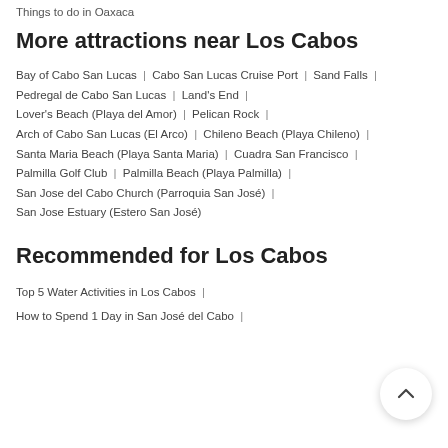Things to do in Oaxaca
More attractions near Los Cabos
Bay of Cabo San Lucas | Cabo San Lucas Cruise Port | Sand Falls | Pedregal de Cabo San Lucas | Land's End | Lover's Beach (Playa del Amor) | Pelican Rock | Arch of Cabo San Lucas (El Arco) | Chileno Beach (Playa Chileno) | Santa Maria Beach (Playa Santa Maria) | Cuadra San Francisco | Palmilla Golf Club | Palmilla Beach (Playa Palmilla) | San Jose del Cabo Church (Parroquia San José) | San Jose Estuary (Estero San José)
Recommended for Los Cabos
Top 5 Water Activities in Los Cabos |
How to Spend 1 Day in San José del Cabo |